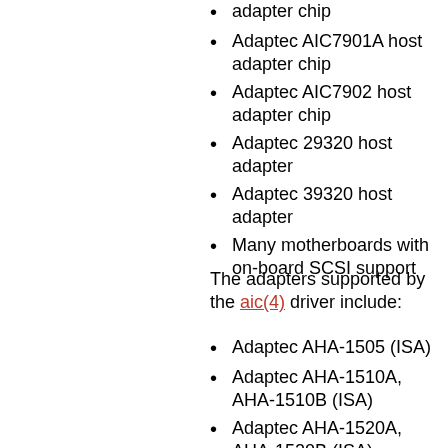adapter chip
Adaptec AIC7901A host adapter chip
Adaptec AIC7902 host adapter chip
Adaptec 29320 host adapter
Adaptec 39320 host adapter
Many motherboards with on-board SCSI support
The adapters supported by the aic(4) driver include:
Adaptec AHA-1505 (ISA)
Adaptec AHA-1510A, AHA-1510B (ISA)
Adaptec AHA-1520A, AHA-1520B (ISA)
Adaptec AHA-1522A, AHA-1522B (ISA)